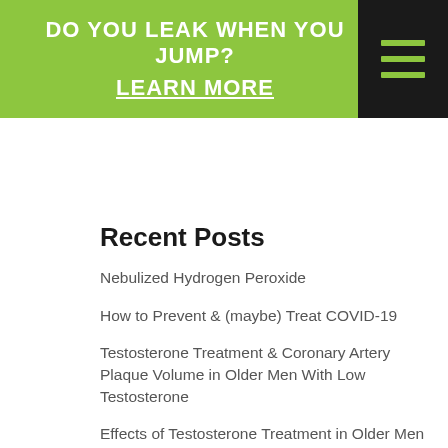DO YOU LEAK WHEN YOU JUMP? LEARN MORE
Recent Posts
Nebulized Hydrogen Peroxide
How to Prevent & (maybe) Treat COVID-19
Testosterone Treatment & Coronary Artery Plaque Volume in Older Men With Low Testosterone
Effects of Testosterone Treatment in Older Men – A study review
Testosterone & Coronary Artery Disease – study review